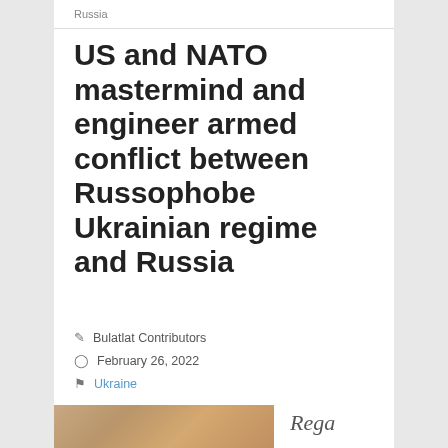Russia
US and NATO mastermind and engineer armed conflict between Russophobe Ukrainian regime and Russia
Bulatlat Contributors
February 26, 2022
Ukraine
[Figure (photo): Partial photo visible at bottom of page with italic text 'Rega' visible to the right]